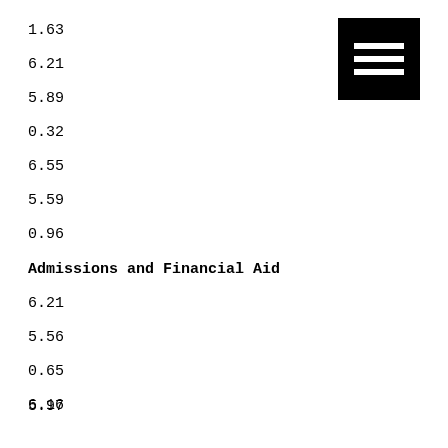1.63
6.21
5.89
0.32
6.55
5.59
0.96
Admissions and Financial Aid
6.21
5.56
0.65
6.16
5.97
0.19
6.52
[Figure (other): Menu/hamburger icon — black square with three white horizontal lines]